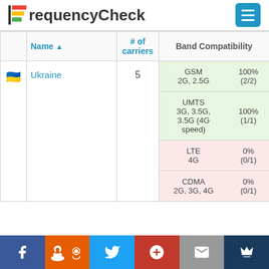FrequencyCheck
|  | Name ▲ | # of carriers | Band Compatibility |
| --- | --- | --- | --- |
| 🇺🇦 | Ukraine | 5 | GSM 2G, 2.5G | 100% (2/2) | UMTS 3G, 3.5G, 3.5G (4G speed) | 100% (1/1) | LTE 4G | 0% (0/1) | CDMA 2G, 3G, 4G | 0% (0/1) |
Facebook | Reddit | Twitter | Google+ | Email | Crown